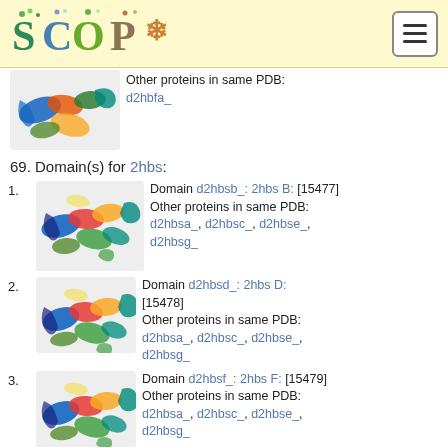SCOPe logo and navigation
[Figure (illustration): Protein structure ribbon diagram for d2hbfa_ showing rainbow-colored helical structure]
Other proteins in same PDB: d2hbfa_
69. Domain(s) for 2hbs:
1. Domain d2hbsb_: 2hbs B: [15477] Other proteins in same PDB: d2hbsa_, d2hbsc_, d2hbse_, d2hbsg_
2. Domain d2hbsd_: 2hbs D: [15478] Other proteins in same PDB: d2hbsa_, d2hbsc_, d2hbse_, d2hbsg_
3. Domain d2hbsf_: 2hbs F: [15479] Other proteins in same PDB: d2hbsa_, d2hbsc_, d2hbse_, d2hbsg_